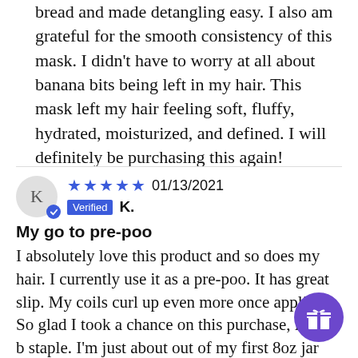bread and made detangling easy. I also am grateful for the smooth consistency of this mask. I didn't have to worry at all about banana bits being left in my hair. This mask left my hair feeling soft, fluffy, hydrated, moisturized, and defined. I will definitely be purchasing this again!
★★★★★ 01/13/2021 Verified K.
My go to pre-poo
I absolutely love this product and so does my hair. I currently use it as a pre-poo. It has great slip. My coils curl up even more once applied. So glad I took a chance on this purchase, it will b staple. I'm just about out of my first 8oz jar soon will will be back to purchase the 16oz container. I'm thinking of adding some manukau